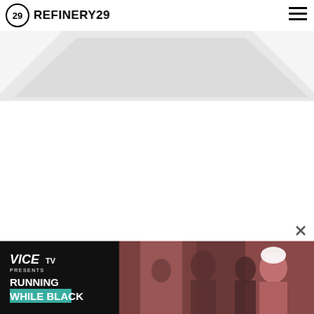REFINERY29
[Figure (screenshot): Refinery29 website screenshot showing the logo header with navigation hamburger menu and a partially visible hero image with a light gray trapezoid/chevron shape]
[Figure (photo): Vice TV advertisement banner showing 'VICE TV PRESENTS RUNNING WHILE BLACK' with a photo of people in the background]